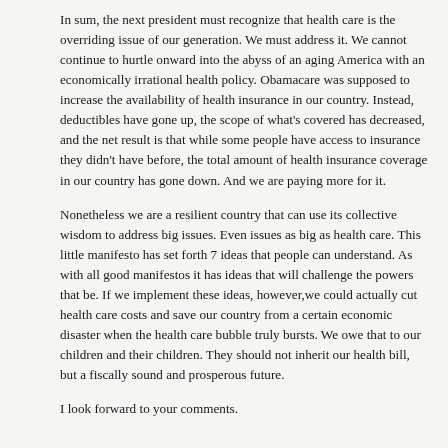In sum, the next president must recognize that health care is the overriding issue of our generation. We must address it. We cannot continue to hurtle onward into the abyss of an aging America with an economically irrational health policy. Obamacare was supposed to increase the availability of health insurance in our country. Instead, deductibles have gone up, the scope of what's covered has decreased, and the net result is that while some people have access to insurance they didn't have before, the total amount of health insurance coverage in our country has gone down. And we are paying more for it.
Nonetheless we are a resilient country that can use its collective wisdom to address big issues. Even issues as big as health care. This little manifesto has set forth 7 ideas that people can understand. As with all good manifestos it has ideas that will challenge the powers that be. If we implement these ideas, however,we could actually cut health care costs and save our country from a certain economic disaster when the health care bubble truly bursts. We owe that to our children and their children. They should not inherit our health bill, but a fiscally sound and prosperous future.
I look forward to your comments.